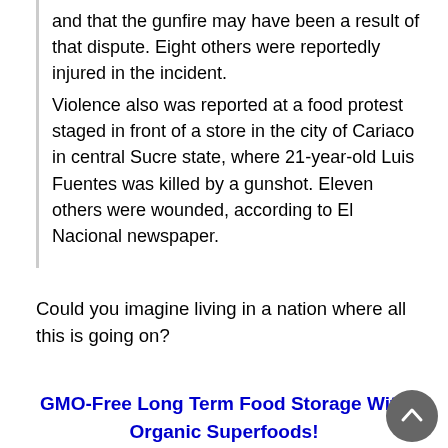and that the gunfire may have been a result of that dispute. Eight others were reportedly injured in the incident. Violence also was reported at a food protest staged in front of a store in the city of Cariaco in central Sucre state, where 21-year-old Luis Fuentes was killed by a gunshot. Eleven others were wounded, according to El Nacional newspaper.
Could you imagine living in a nation where all this is going on?
GMO-Free Long Term Food Storage With Organic Superfoods!